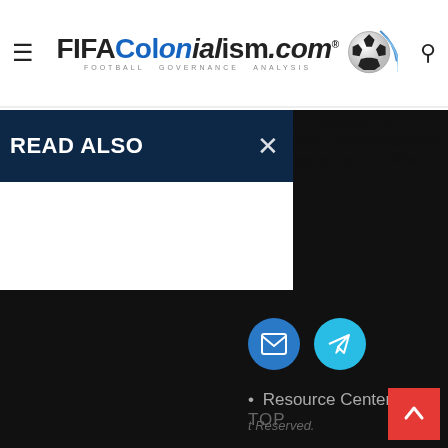FIFAColonialism.com — Football Governance Analysis
[Figure (screenshot): Thumbnail photo of Uganda FA President Moses Magogo with CAF President Patrice Motsepe's wife]
“The Bull Of Kampala”: Uganda FA President Moses Magogo Introduces CAF President Patrice Motsepe To His Wife
READ ALSO
[Figure (infographic): Social share buttons: email (blue circle) and Telegram (cyan circle)]
Resource Center
t Reserved.
TOP